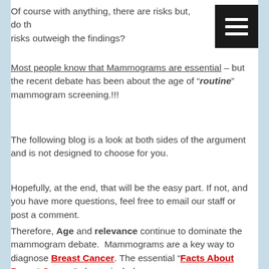Of course with anything, there are risks but, do the risks outweigh the findings?
Most people know that Mammograms are essential – but the recent debate has been about the age of "routine" mammogram screening.!!!
The following blog is a look at both sides of the argument and is not designed to choose for you.
Hopefully, at the end, that will be the easy part. If not, and you have more questions, feel free to email our staff or post a comment.
Therefore, Age and relevance continue to dominate the mammogram debate. Mammograms are a key way to diagnose Breast Cancer. The essential "Facts About Breast Cancer" always include mammograms.